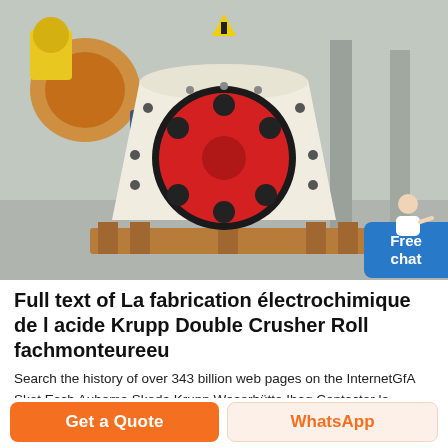[Figure (photo): Industrial crusher machine — a large cream/off-white double roll crusher with a prominent red flywheel/disk in the center, mounted on a wooden pallet on a factory floor. Other heavy machinery visible in the background of an industrial warehouse.]
Full text of La fabrication électrochimique de l acide Krupp Double Crusher Roll fachmonteureeu
Search the history of over 343 billion web pages on the InternetGfA Sket Esch Aubema Skoda Krupp Weserhütte Ibag Contacter le fournisseur crusher krupp con krupp
Get a Quote | WhatsApp